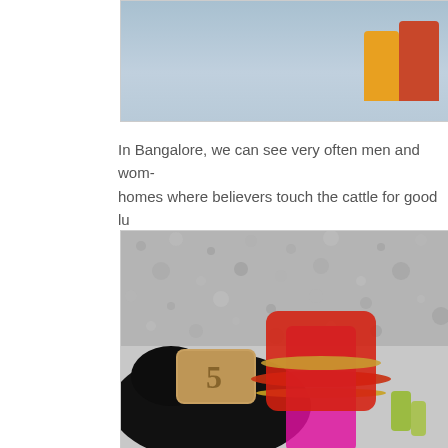[Figure (photo): Top portion of a photo showing people in colorful traditional clothing (red and orange/yellow) against a light blue/grey background, partially cropped at the top of the page.]
In Bangalore, we can see very often men and wom- homes where believers touch the cattle for good lu
[Figure (photo): A decorated sacred cow or bull with a dark (black) body, painted/carved wooden decoration with the number 5, adorned with red/orange beaded necklace and bright pink/magenta and red cloth coverings with gold beads.]